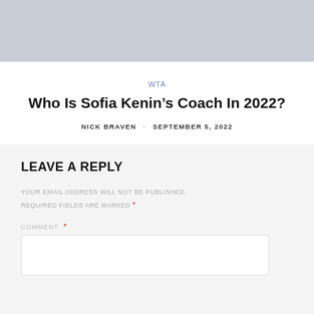[Figure (other): Gray banner image placeholder at top of page]
WTA
Who Is Sofia Kenin's Coach In 2022?
NICK BRAVEN · SEPTEMBER 5, 2022
LEAVE A REPLY
YOUR EMAIL ADDRESS WILL NOT BE PUBLISHED. REQUIRED FIELDS ARE MARKED *
COMMENT *